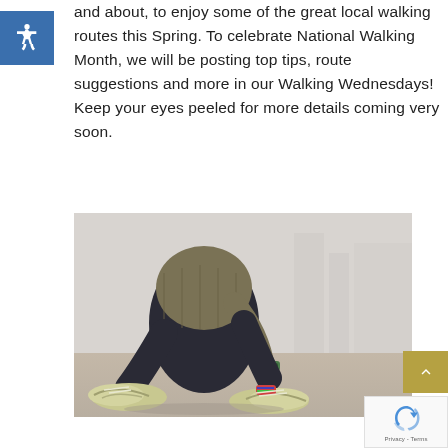and about, to enjoy some of the great local walking routes this Spring. To celebrate National Walking Month, we will be posting top tips, route suggestions and more in our Walking Wednesdays! Keep your eyes peeled for more details coming very soon.
[Figure (photo): Person crouching down tying shoelaces on green trainers, wearing dark leggings and a khaki puffer jacket, with a fitness tracker on wrist, outdoors on a paved surface.]